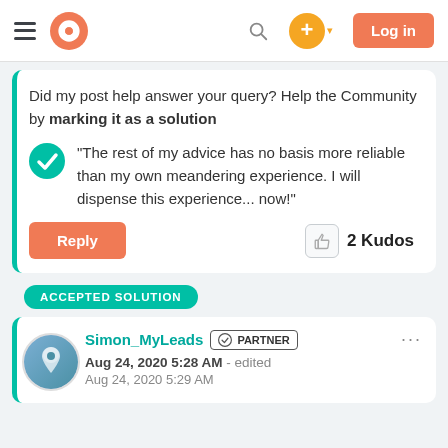HubSpot Community navigation bar with logo, search, plus button, and Log in button
Did my post help answer your query? Help the Community by marking it as a solution
"The rest of my advice has no basis more reliable than my own meandering experience. I will dispense this experience... now!"
Reply   2 Kudos
ACCEPTED SOLUTION
Simon_MyLeads  PARTNER  ...  Aug 24, 2020 5:28 AM  - edited  Aug 24, 2020 5:29 AM